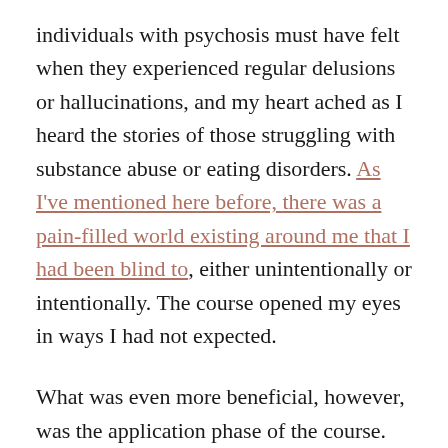individuals with psychosis must have felt when they experienced regular delusions or hallucinations, and my heart ached as I heard the stories of those struggling with substance abuse or eating disorders. As I've mentioned here before, there was a pain-filled world existing around me that I had been blind to, either unintentionally or intentionally. The course opened my eyes in ways I had not expected.
What was even more beneficial, however, was the application phase of the course. With a gentle, steady, and determined style, Mary worked with all of us to develop the skills, behaviors, and techniques needed to respond to those who were